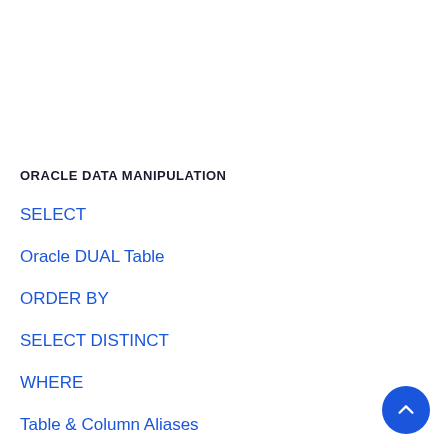ORACLE DATA MANIPULATION
SELECT
Oracle DUAL Table
ORDER BY
SELECT DISTINCT
WHERE
Table & Column Aliases